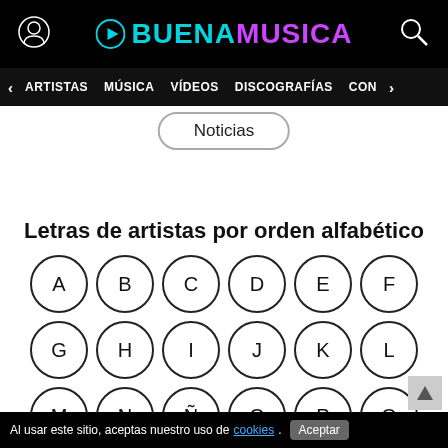BUENAMUSICA
ARTISTAS  MÚSICA  VÍDEOS  DISCOGRAFÍAS  CON
Noticias
Letras de artistas por orden alfabético
A B C D E F G H I J K L M N Ñ O P Q W
Al usar este sitio, aceptas nuestro uso de cookies. Aceptar